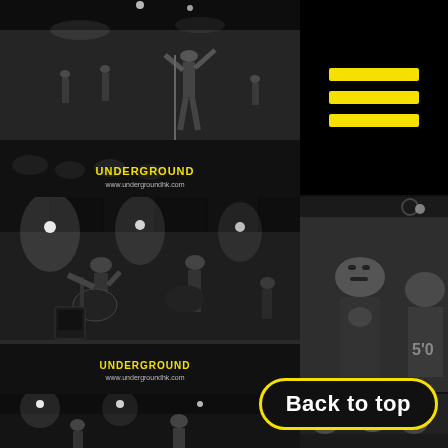[Figure (photo): Black and white photo of a band performing on stage at an underground venue, singer at microphone with energy, crowd visible]
[Figure (logo): Black square with three horizontal yellow lines forming a hamburger/menu icon logo]
[Figure (photo): Black and white photo of a band performing on stage, guitarist in foreground, with 'UNDERGROUND www.undergroundhk.com' watermark]
[Figure (photo): Black and white photo of audience members at a concert venue]
[Figure (photo): Black and white partial photo of concert performance, bottom of page]
[Figure (photo): Black and white partial photo of crowd, bottom right of page]
Back to top